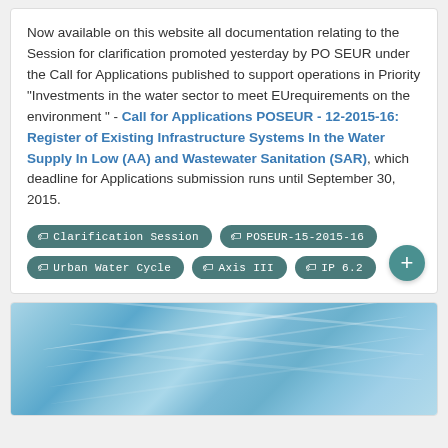Now available on this website all documentation relating to the Session for clarification promoted yesterday by PO SEUR under the Call for Applications published to support operations in Priority "Investments in the water sector to meet EUrequirements on the environment " - Call for Applications POSEUR - 12-2015-16: Register of Existing Infrastructure Systems In the Water Supply In Low (AA) and Wastewater Sanitation (SAR), which deadline for Applications submission runs until September 30, 2015.
Clarification Session
POSEUR-15-2015-16
Urban Water Cycle
Axis III
IP 6.2
[Figure (photo): Blue water surface texture photograph showing rippling water with light reflections]